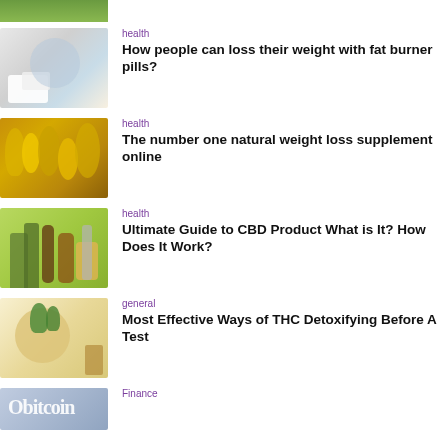[Figure (photo): Partial image at top - green plant/leaves photo cropped]
[Figure (photo): Prescription pills and medication bottles on white background]
health
How people can loss their weight with fat burner pills?
[Figure (photo): Golden/yellow omega-3 fish oil capsules piled together]
health
The number one natural weight loss supplement online
[Figure (photo): CBD oil bottles and cannabis leaves on green background]
health
Ultimate Guide to CBD Product What is It? How Does It Work?
[Figure (photo): Detox drink with mint leaves and honey dipper]
general
Most Effective Ways of THC Detoxifying Before A Test
[Figure (photo): Partial image at bottom - Bitcoin sign/logo]
Finance